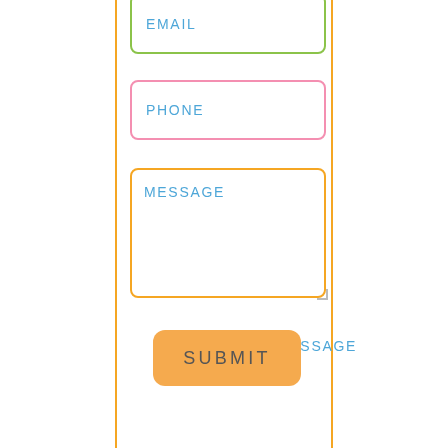[Figure (screenshot): A web contact form showing three input fields (EMAIL with green border, PHONE with pink border, MESSAGE with orange border) and an orange SUBMIT button, all within an orange-bordered container.]